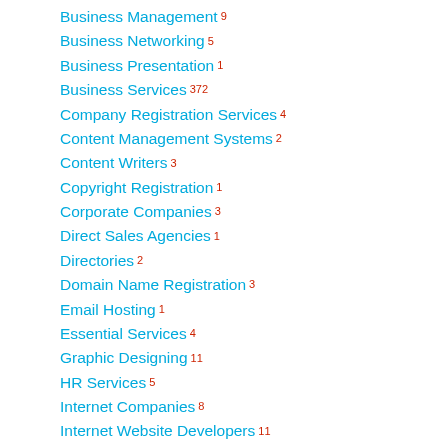Business Management 9
Business Networking 5
Business Presentation 1
Business Services 372
Company Registration Services 4
Content Management Systems 2
Content Writers 3
Copyright Registration 1
Corporate Companies 3
Direct Sales Agencies 1
Directories 2
Domain Name Registration 3
Email Hosting 1
Essential Services 4
Graphic Designing 11
HR Services 5
Internet Companies 8
Internet Website Developers 11
IT Equipment Procurement (partial)